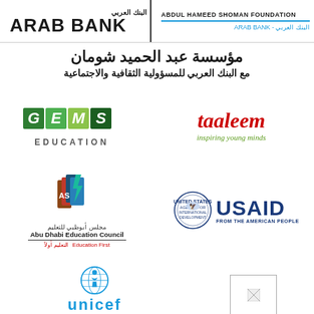[Figure (logo): Arab Bank logo with Arabic text and English 'ARAB BANK' wordmark on the left; Abdul Hameed Shoman Foundation and Arab Bank Arabic/English text on the right]
مؤسسة عبد الحميد شومان
مع البنك العربي للمسؤولية الثقافية والاجتماعية
[Figure (logo): GEMS Education logo with stylized colorful letters and 'EDUCATION' text below]
[Figure (logo): Taaleem logo in red italic script with tagline 'inspiring young minds' in green]
[Figure (logo): Abu Dhabi Education Council logo with multi-colored book/flag icon, Arabic text مجلس أبوظبي للتعليم, English text Abu Dhabi Education Council, and tagline Education First]
[Figure (logo): USAID logo with circular seal and text USAID FROM THE AMERICAN PEOPLE in dark blue]
[Figure (logo): UNICEF logo with circular globe and child emblem in blue and blue UNICEF text]
[Figure (logo): Small placeholder logo box in bottom right]